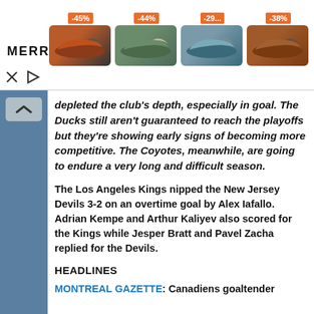[Figure (other): Merrell shoe advertisement banner showing four shoes with discount badges: -45%, -44%, -29%..., -38%. MERRELL logo at bottom left.]
depleted the club's depth, especially in goal. The Ducks still aren't guaranteed to reach the playoffs but they're showing early signs of becoming more competitive. The Coyotes, meanwhile, are going to endure a very long and difficult season.
The Los Angeles Kings nipped the New Jersey Devils 3-2 on an overtime goal by Alex Iafallo. Adrian Kempe and Arthur Kaliyev also scored for the Kings while Jesper Bratt and Pavel Zacha replied for the Devils.
HEADLINES
MONTREAL GAZETTE: Canadiens goaltender